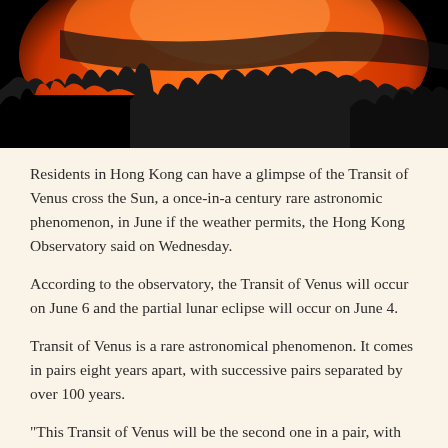[Figure (photo): A photograph showing a large orange-red sun near the horizon with dark silhouettes of trees in the foreground against a black sky.]
Residents in Hong Kong can have a glimpse of the Transit of Venus cross the Sun, a once-in-a century rare astronomic phenomenon, in June if the weather permits, the Hong Kong Observatory said on Wednesday.
According to the observatory, the Transit of Venus will occur on June 6 and the partial lunar eclipse will occur on June 4.
Transit of Venus is a rare astronomical phenomenon. It comes in pairs eight years apart, with successive pairs separated by over 100 years.
“This Transit of Venus will be the second one in a pair, with